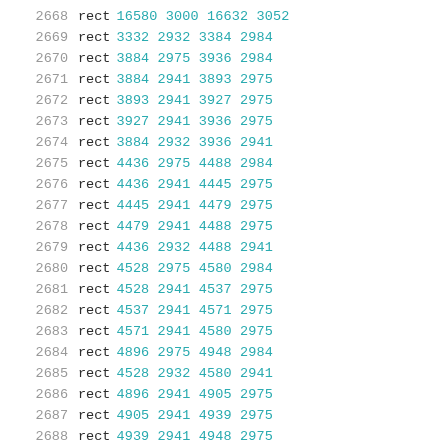2668  rect 16580 3000 16632 3052
2669  rect 3332 2932 3384 2984
2670  rect 3884 2975 3936 2984
2671  rect 3884 2941 3893 2975
2672  rect 3893 2941 3927 2975
2673  rect 3927 2941 3936 2975
2674  rect 3884 2932 3936 2941
2675  rect 4436 2975 4488 2984
2676  rect 4436 2941 4445 2975
2677  rect 4445 2941 4479 2975
2678  rect 4479 2941 4488 2975
2679  rect 4436 2932 4488 2941
2680  rect 4528 2975 4580 2984
2681  rect 4528 2941 4537 2975
2682  rect 4537 2941 4571 2975
2683  rect 4571 2941 4580 2975
2684  rect 4896 2975 4948 2984
2685  rect 4528 2932 4580 2941
2686  rect 4896 2941 4905 2975
2687  rect 4905 2941 4939 2975
2688  rect 4939 2941 4948 2975